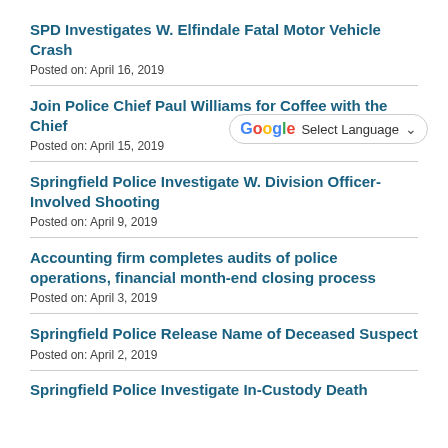SPD Investigates W. Elfindale Fatal Motor Vehicle Crash
Posted on: April 16, 2019
Join Police Chief Paul Williams for Coffee with the Chief
Posted on: April 15, 2019
Springfield Police Investigate W. Division Officer-Involved Shooting
Posted on: April 9, 2019
Accounting firm completes audits of police operations, financial month-end closing process
Posted on: April 3, 2019
Springfield Police Release Name of Deceased Suspect
Posted on: April 2, 2019
Springfield Police Investigate In-Custody Death